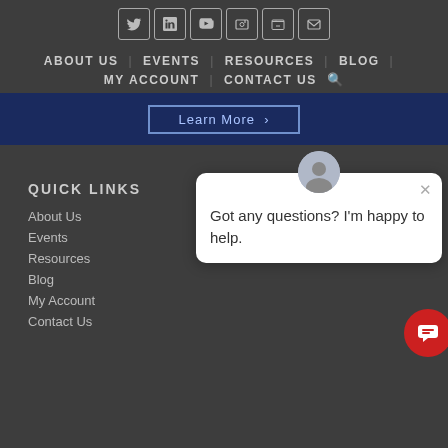[Figure (screenshot): Social media icons row: Twitter, LinkedIn, YouTube, another icon, cart icon, email icon - all in outlined square boxes]
ABOUT US | EVENTS | RESOURCES | BLOG |
MY ACCOUNT | CONTACT US 🔍
[Figure (screenshot): Blue banner with 'Learn More >' button outlined in light blue]
QUICK LINKS
About Us
Events
Resources
Blog
My Account
Contact Us
[Figure (screenshot): Chat popup with avatar and text: Got any questions? I'm happy to help. Close X button. Red round chat button bottom right.]
CONTACT